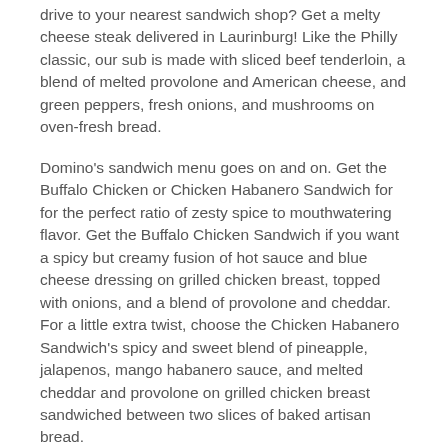drive to your nearest sandwich shop? Get a melty cheese steak delivered in Laurinburg! Like the Philly classic, our sub is made with sliced beef tenderloin, a blend of melted provolone and American cheese, and green peppers, fresh onions, and mushrooms on oven-fresh bread.
Domino's sandwich menu goes on and on. Get the Buffalo Chicken or Chicken Habanero Sandwich for for the perfect ratio of zesty spice to mouthwatering flavor. Get the Buffalo Chicken Sandwich if you want a spicy but creamy fusion of hot sauce and blue cheese dressing on grilled chicken breast, topped with onions, and a blend of provolone and cheddar. For a little extra twist, choose the Chicken Habanero Sandwich's spicy and sweet blend of pineapple, jalapenos, mango habanero sauce, and melted cheddar and provolone on grilled chicken breast sandwiched between two slices of baked artisan bread.
You can't overlook another combo of favorite flavors — the Chicken Bacon Ranch Sandwich. It blends the savoriness of crispy bacon with the creaminess of zesty ranch. It's a toast to your taste buds with tender grilled chicken, provolone, and oven-baked artisan bread. It isn't easy to pick just one sub when